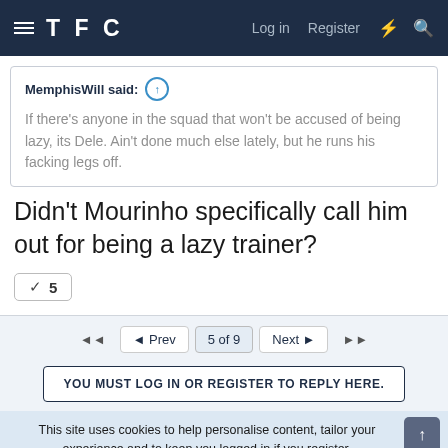TFC — Log in | Register
MemphisWill said: If there's anyone in the squad that won't be accused of being lazy, its Dele. Ain't done much else lately, but he runs his facking legs off.
Didn't Mourinho specifically call him out for being a lazy trainer?
✓ 5
◄◄  ◄ Prev  5 of 9  Next ►  ►►
YOU MUST LOG IN OR REGISTER TO REPLY HERE.
This site uses cookies to help personalise content, tailor your experience and to keep you logged in if you register.
By continuing to use this site, you are consenting to our use of cookies.
✓ ACCEPT  LEARN MORE...